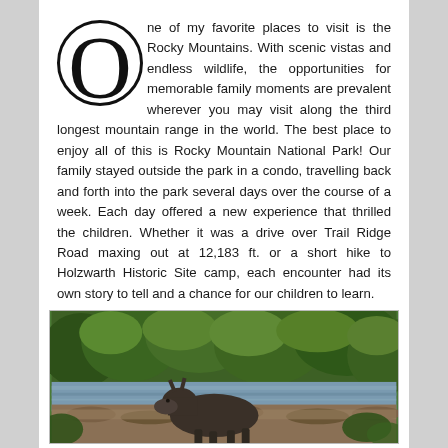One of my favorite places to visit is the Rocky Mountains. With scenic vistas and endless wildlife, the opportunities for memorable family moments are prevalent wherever you may visit along the third longest mountain range in the world. The best place to enjoy all of this is Rocky Mountain National Park! Our family stayed outside the park in a condo, travelling back and forth into the park several days over the course of a week. Each day offered a new experience that thrilled the children. Whether it was a drive over Trail Ridge Road maxing out at 12,183 ft. or a short hike to Holzwarth Historic Site camp, each encounter had its own story to tell and a chance for our children to learn.
[Figure (photo): A moose crossing a mountain stream surrounded by green shrubs and trees in Rocky Mountain National Park]